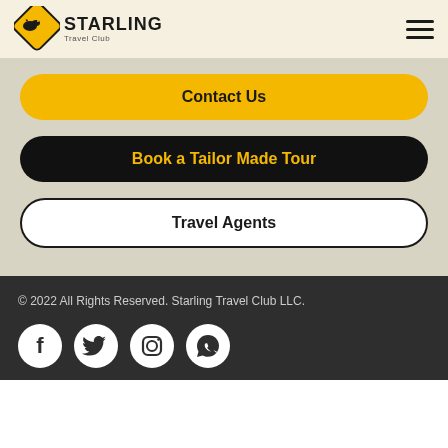[Figure (logo): Starling Travel Club logo with yellow diamond shape containing a bird silhouette, and text STARLING Travel Club]
Contact Us
Book a Tailor Made Tour
Travel Agents
© 2022 All Rights Reserved. Starling Travel Club LLC.
[Figure (infographic): Social media icons: Facebook, Twitter, Instagram, WhatsApp — white circles on dark background]